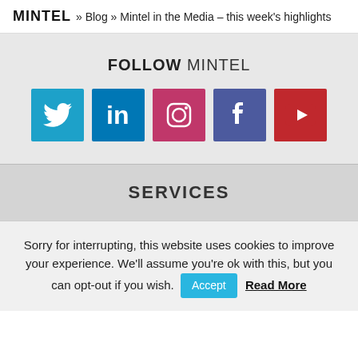MINTEL » Blog » Mintel in the Media – this week's highlights
FOLLOW MINTEL
[Figure (infographic): Five social media icons in colored squares: Twitter (blue), LinkedIn (dark blue), Instagram (pink/magenta), Facebook (purple-blue), YouTube (red)]
SERVICES
Sorry for interrupting, this website uses cookies to improve your experience. We'll assume you're ok with this, but you can opt-out if you wish. Accept  Read More